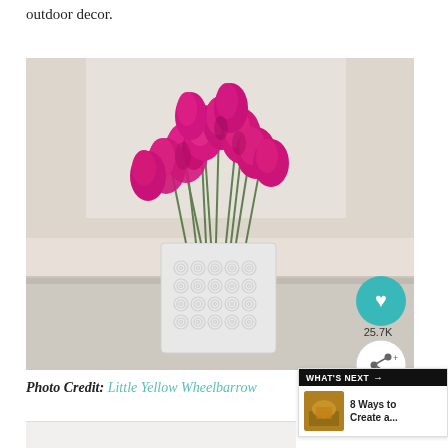outdoor decor.
[Figure (photo): Pink/magenta tulips arranged in a white decorative vase with rose-pattern embossed texture, sitting on a white surface near a window. Heart/like button overlay showing 25.7K likes, and a share button.]
Photo Credit: Little Yellow Wheelbarrow